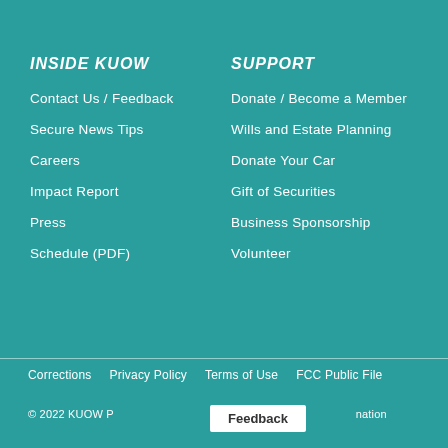INSIDE KUOW
Contact Us / Feedback
Secure News Tips
Careers
Impact Report
Press
Schedule (PDF)
SUPPORT
Donate / Become a Member
Wills and Estate Planning
Donate Your Car
Gift of Securities
Business Sponsorship
Volunteer
Corrections   Privacy Policy   Terms of Use   FCC Public File
© 2022 KUOW Public Radio, a service of the University of Washington